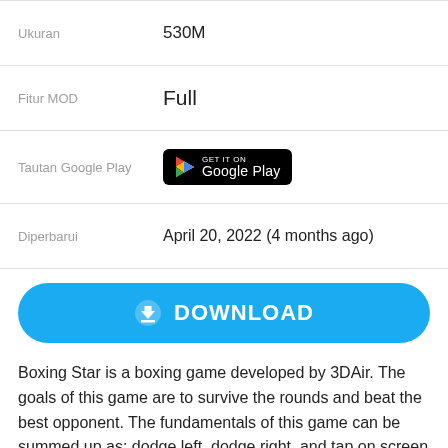| Ukuran | 530M |
| Fitur MOD | Full |
| Tautan Google Play | [Google Play button] |
| Diperbarui | April 20, 2022 (4 months ago) |
[Figure (other): Download button — blue rounded rectangle with download icon and text DOWNLOAD]
Boxing Star is a boxing game developed by 3DAir. The goals of this game are to survive the rounds and beat the best opponent. The fundamentals of this game can be summed up as: dodge left, dodge right, and tap on screen to hit back. Many of my buddies are recommending